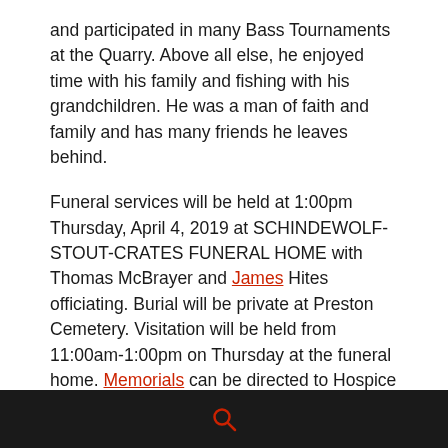and participated in many Bass Tournaments at the Quarry. Above all else, he enjoyed time with his family and fishing with his grandchildren. He was a man of faith and family and has many friends he leaves behind.
Funeral services will be held at 1:00pm Thursday, April 4, 2019 at SCHINDEWOLF-STOUT-CRATES FUNERAL HOME with Thomas McBrayer and James Hites officiating. Burial will be private at Preston Cemetery. Visitation will be held from 11:00am-1:00pm on Thursday at the funeral home. Memorials can be directed to Hospice of Central Ohio, 2269 Cherry Valley Rd. SE, Newark, OH and online condolences can be shared with the family by visiting stoutcrates.com.
[search icon]